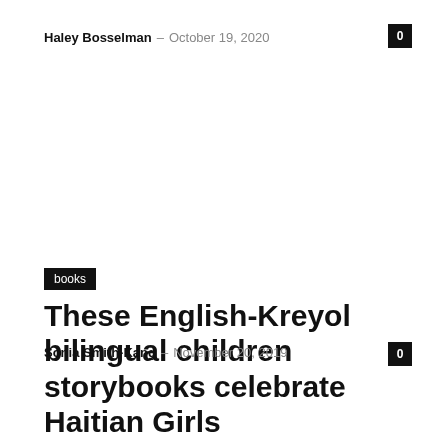Haley Bosselman – October 19, 2020
0
books
These English-Kreyol bilingual children storybooks celebrate Haitian Girls
Sonia Smith-Kang – November 20, 2019
0